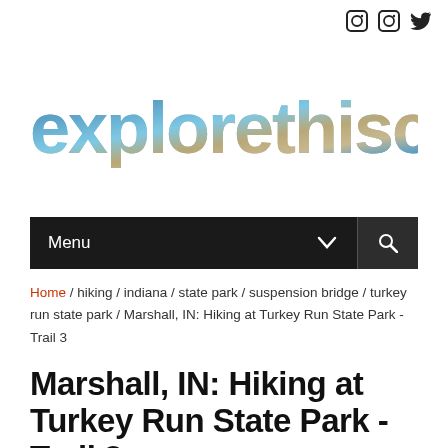explorethiscity
[Figure (logo): explorethiscity website logo with large text filled with scenic photo imagery]
Menu
Home / hiking / indiana / state park / suspension bridge / turkey run state park / Marshall, IN: Hiking at Turkey Run State Park - Trail 3
Marshall, IN: Hiking at Turkey Run State Park - Trail 3